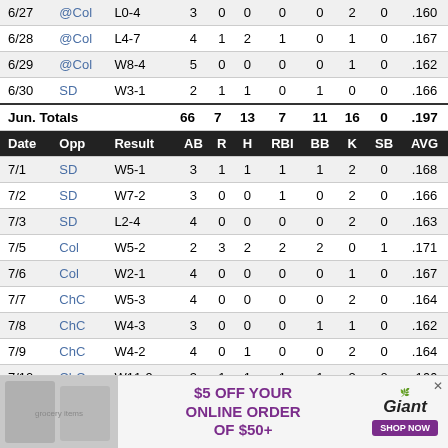| Date | Opp | Result | AB | R | H | RBI | BB | K | SB | AVG |
| --- | --- | --- | --- | --- | --- | --- | --- | --- | --- | --- |
| 6/27 | @Col | L0-4 | 3 | 0 | 0 | 0 | 0 | 2 | 0 | .160 |
| 6/28 | @Col | L4-7 | 4 | 1 | 2 | 1 | 0 | 1 | 0 | .167 |
| 6/29 | @Col | W8-4 | 5 | 0 | 0 | 0 | 0 | 1 | 0 | .162 |
| 6/30 | SD | W3-1 | 2 | 1 | 1 | 0 | 1 | 0 | 0 | .166 |
|  | Jun. Totals |  | 66 | 7 | 13 | 7 | 11 | 16 | 0 | .197 |
| Date | Opp | Result | AB | R | H | RBI | BB | K | SB | AVG |
| 7/1 | SD | W5-1 | 3 | 1 | 1 | 1 | 1 | 2 | 0 | .168 |
| 7/2 | SD | W7-2 | 3 | 0 | 0 | 1 | 0 | 2 | 0 | .166 |
| 7/3 | SD | L2-4 | 4 | 0 | 0 | 0 | 0 | 2 | 0 | .163 |
| 7/5 | Col | W5-2 | 2 | 3 | 2 | 2 | 2 | 0 | 1 | .171 |
| 7/6 | Col | W2-1 | 4 | 0 | 0 | 0 | 0 | 1 | 0 | .167 |
| 7/7 | ChC | W5-3 | 4 | 0 | 0 | 0 | 0 | 2 | 0 | .164 |
| 7/8 | ChC | W4-3 | 3 | 0 | 0 | 0 | 1 | 1 | 0 | .162 |
| 7/9 | ChC | W4-2 | 4 | 0 | 1 | 0 | 0 | 2 | 0 | .164 |
| 7/10 | ChC | W11-9 | 3 | 1 | 1 | 1 | 1 | 2 | 0 | .166 |
| 7/12 | @StL | L6-7 | 1 | 0 | 0 | 0 | 1 | 0 | 0 | .165 |
| 7/13 | @StL | W7-6 | 0 | 1 | 0 | 1 | 4 | 0 | 0 | .165 |
[Figure (other): Advertisement banner: $5 OFF YOUR ONLINE ORDER OF $50+ Giant food store ad]